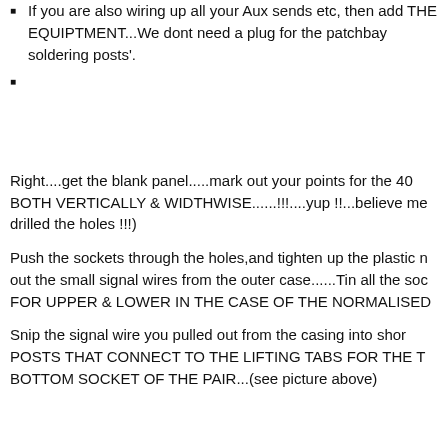If you are also wiring up all your Aux sends etc, then add THE EQUIPTMENT...We dont need a plug for the patchbay soldering posts'.
Right....get the blank panel.....mark out your points for the 40 BOTH VERTICALLY & WIDTHWISE......!!!....yup !!...believe me drilled the holes !!! )
Push the sockets through the holes,and tighten up the plastic n out the small signal wires from the outer case......Tin all the soc FOR UPPER & LOWER IN THE CASE OF THE NORMALISED
Snip the signal wire you pulled out from the casing into shor POSTS THAT CONNECT TO THE LIFTING TABS FOR THE T BOTTOM SOCKET OF THE PAIR...(see picture above)